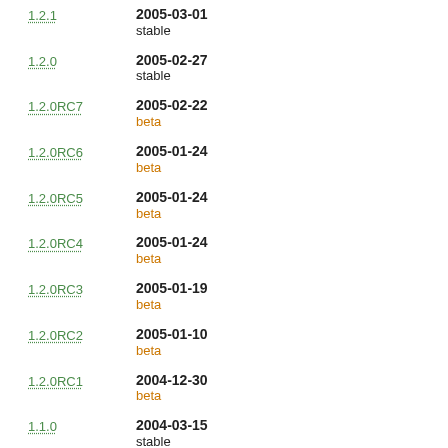1.2.1 | 2005-03-01 | stable
1.2.0 | 2005-02-27 | stable
1.2.0RC7 | 2005-02-22 | beta
1.2.0RC6 | 2005-01-24 | beta
1.2.0RC5 | 2005-01-24 | beta
1.2.0RC4 | 2005-01-24 | beta
1.2.0RC3 | 2005-01-19 | beta
1.2.0RC2 | 2005-01-10 | beta
1.2.0RC1 | 2004-12-30 | beta
1.1.0 | 2004-03-15 | stable
... | 2002-10-10 | ...